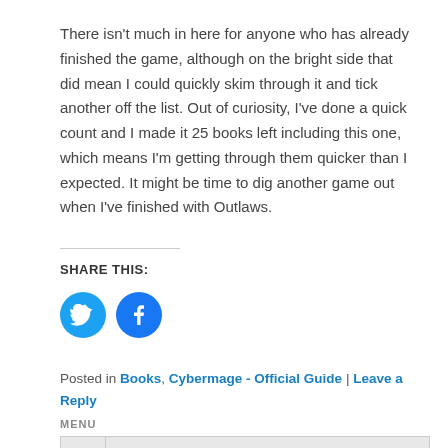There isn't much in here for anyone who has already finished the game, although on the bright side that did mean I could quickly skim through it and tick another off the list. Out of curiosity, I've done a quick count and I made it 25 books left including this one, which means I'm getting through them quicker than I expected. It might be time to dig another game out when I've finished with Outlaws.
SHARE THIS:
[Figure (illustration): Twitter and Facebook share icon buttons (blue circles with bird and f logos)]
Posted in Books, Cybermage - Official Guide | Leave a Reply
MENU
Crusader Series